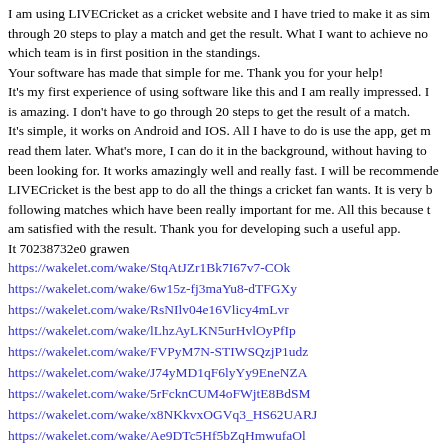I am using LIVECricket as a cricket website and I have tried to make it as sim through 20 steps to play a match and get the result. What I want to achieve no which team is in first position in the standings. Your software has made that simple for me. Thank you for your help! It's my first experience of using software like this and I am really impressed. is amazing. I don't have to go through 20 steps to get the result of a match. It's simple, it works on Android and IOS. All I have to do is use the app, get m read them later. What's more, I can do it in the background, without having to been looking for. It works amazingly well and really fast. I will be recommende LIVECricket is the best app to do all the things a cricket fan wants. It is very b following matches which have been really important for me. All this because am satisfied with the result. Thank you for developing such a useful app. It 70238732e0 grawen
https://wakelet.com/wake/StqAtJZr1Bk7I67v7-COk
https://wakelet.com/wake/6w15z-fj3maYu8-dTFGXy
https://wakelet.com/wake/RsNIlv04e16Vlicy4mLvr
https://wakelet.com/wake/lLhzAyLKN5urHvlOyPfIp
https://wakelet.com/wake/FVPyM7N-STIWSQzjP1udz
https://wakelet.com/wake/J74yMD1qF6lyYy9EneNZA
https://wakelet.com/wake/5rFcknCUM4oFWjtE8BdSM
https://wakelet.com/wake/x8NKkvxOGVq3_HS62UARJ
https://wakelet.com/wake/Ae9DTc5Hf5bZqHmwufaOl
https://wakelet.com/wake/-LH5Za8J-zoAIj4PezUNE
This is a special syntax for MAC key lookup. A look up in the user-settable M or a look up in the built-in MAC macros. The numbers, values and strings (cas any length. The user selects a MAC in a menu, which is then used for the look =";". Macro can be any combination of numbers, strings, including dots and dashes Example: